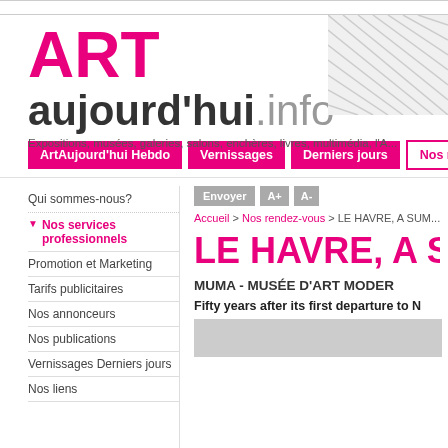[Figure (logo): ART aujourd'hui.info website logo with pink ART text and grey aujourdhui.info text]
Expositions, musées, galeries, salons, enchères, livres, multimédia, l'A...
ArtAujourd'hui Hebdo | Vernissages | Derniers jours | Nos rendez-vous
Qui sommes-nous?
▼ Nos services professionnels
Promotion et Marketing
Tarifs publicitaires
Nos annonceurs
Nos publications
Vernissages Derniers jours
Nos liens
Envoyer  A+  A-
Accueil > Nos rendez-vous > LE HAVRE, A SUMM...
LE HAVRE, A SUM...
MUMA - MUSÉE D'ART MODER...
Fifty years after its first departure to N...